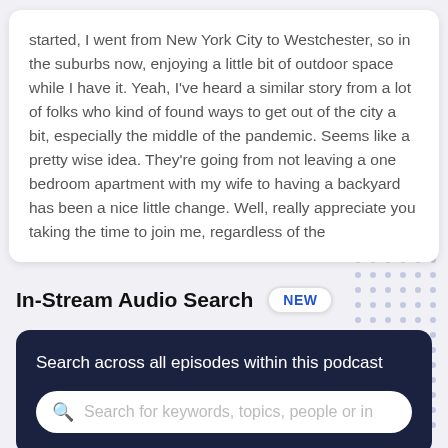started, I went from New York City to Westchester, so in the suburbs now, enjoying a little bit of outdoor space while I have it. Yeah, I've heard a similar story from a lot of folks who kind of found ways to get out of the city a bit, especially the middle of the pandemic. Seems like a pretty wise idea. They're going from not leaving a one bedroom apartment with my wife to having a backyard has been a nice little change. Well, really appreciate you taking the time to join me, regardless of the
In-Stream Audio Search
NEW
Search across all episodes within this podcast
Search for keywords, topics, people or in